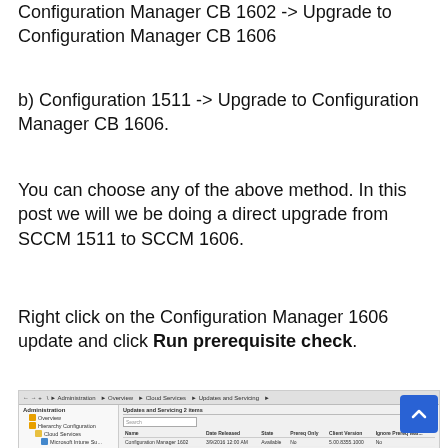Configuration Manager CB 1602 -> Upgrade to Configuration Manager CB 1606
b) Configuration 1511 -> Upgrade to Configuration Manager CB 1606.
You can choose any of the above method. In this post we will we be doing a direct upgrade from SCCM 1511 to SCCM 1606.
Right click on the Configuration Manager 1606 update and click Run prerequisite check.
[Figure (screenshot): Screenshot of Configuration Manager console showing Updates and Servicing page with two entries: Configuration Manager 1602 (Available, No, 5.00.8355.1000, No) and Configuration Manager 1606 (date, No, 5.00.8412.1000, No). Navigation panel on left shows Administration, Overview, Hierarchy Configuration, Cloud Services, Microsoft Intune Subscriptions nodes. A blue scroll-to-top button is visible in the bottom right.]